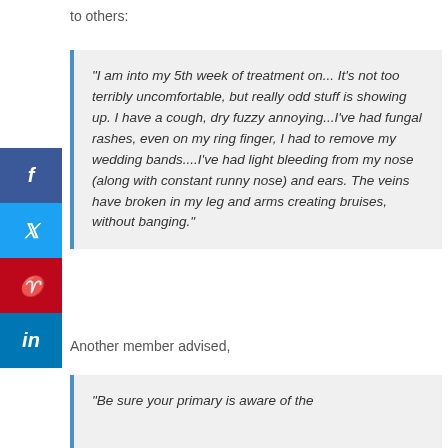to others:
“I am into my 5th week of treatment on... It’s not too terribly uncomfortable, but really odd stuff is showing up. I have a cough, dry fuzzy annoying...I’ve had fungal rashes, even on my ring finger, I had to remove my wedding bands....I’ve had light bleeding from my nose (along with constant runny nose) and ears.  The veins have broken in my leg and arms creating bruises, without banging.”
Another member advised,
“Be sure your primary is aware of the